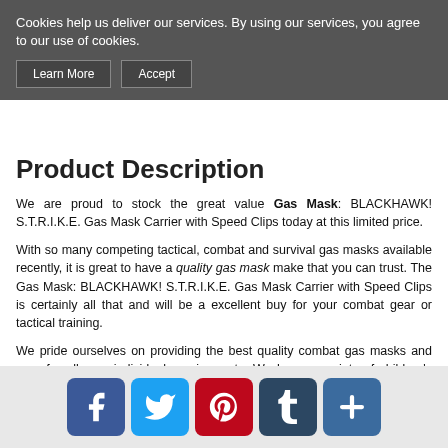Cookies help us deliver our services. By using our services, you agree to our use of cookies.
Learn More | Accept
Product Description
We are proud to stock the great value Gas Mask: BLACKHAWK! S.T.R.I.K.E. Gas Mask Carrier with Speed Clips today at this limited price.
With so many competing tactical, combat and survival gas masks available recently, it is great to have a quality gas mask make that you can trust. The Gas Mask: BLACKHAWK! S.T.R.I.K.E. Gas Mask Carrier with Speed Clips is certainly all that and will be a excellent buy for your combat gear or tactical training.
We pride ourselves on providing the best quality combat gas masks and gear for all your individual requirements. We have a variety of children's gas masks, Israeli gas masks and other NBC gas masks available. Don't leave without a gas mask bag for preppers to protect it in a ready state.
For this great price, the BLACKHAWK! S.T.R.I.K.E. Gas Mask Carrier with Speed Clips is one of the Best Gas Masks on the
[Figure (infographic): Social media share buttons: Facebook, Twitter, Pinterest, Tumblr, and a plus/more button]